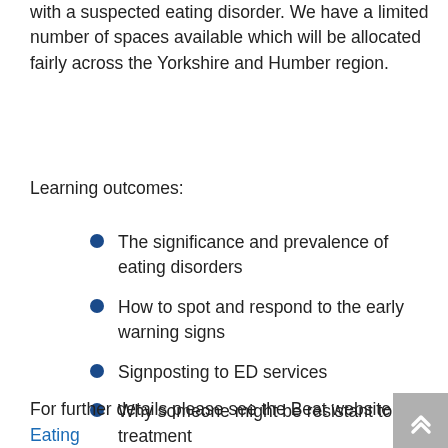with a suspected eating disorder. We have a limited number of spaces available which will be allocated fairly across the Yorkshire and Humber region.
Learning outcomes:
The significance and prevalence of eating disorders
How to spot and respond to the early warning signs
Signposting to ED services
Why someone might be resistant to treatment
For further details please see the Beat website Eating